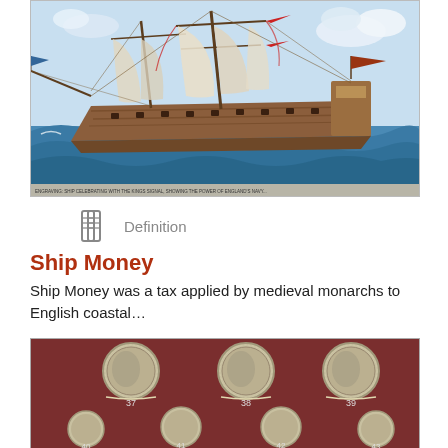[Figure (illustration): Historical color illustration of a large sailing warship on rough seas with flags flying, labeled with small text at the bottom.]
Definition
Ship Money
Ship Money was a tax applied by medieval monarchs to English coastal…
[Figure (photo): Photo of ancient Roman coins numbered 37–43 displayed on a red fabric background. Top row: coins 37, 38, 39. Bottom row: coins 40, 41, 42, 43.]